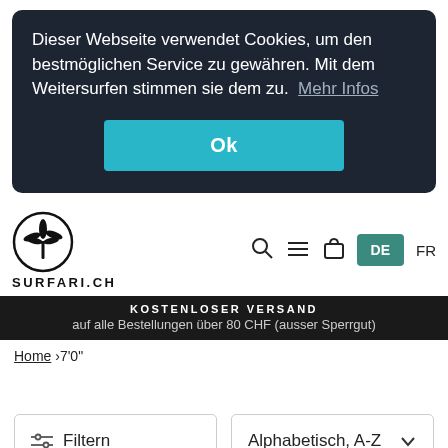Dieser Webseite verwendet Cookies, um den bestmöglichen Service zu gewähren. Mit dem Weitersurfen stimmen sie dem zu.  Mehr Infos
Ok
[Figure (logo): Surfari.ch logo with palm tree in circle]
SURFARI.CH
KOSTENLOSER VERSAND
auf alle Bestellungen über 80 CHF (ausser Sperrgut)
Home ›7'0"
Filtern
Alphabetisch, A-Z